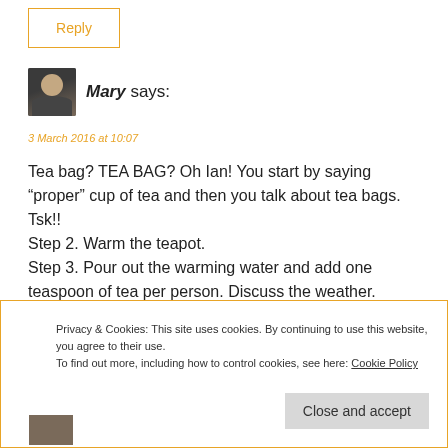Reply
Mary says:
3 March 2016 at 10:07
Tea bag? TEA BAG? Oh Ian! You start by saying “proper” cup of tea and then you talk about tea bags. Tsk!!
Step 2. Warm the teapot.
Step 3. Pour out the warming water and add one teaspoon of tea per person. Discuss the weather.
😀
Privacy & Cookies: This site uses cookies. By continuing to use this website, you agree to their use. To find out more, including how to control cookies, see here: Cookie Policy
Close and accept